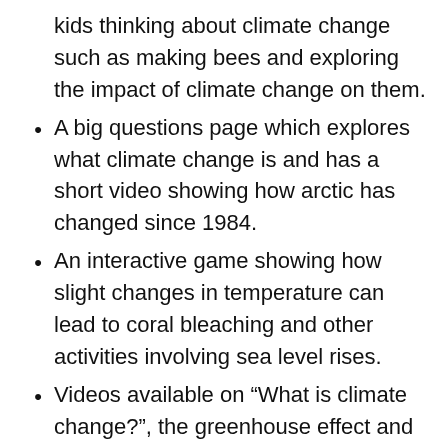kids thinking about climate change such as making bees and exploring the impact of climate change on them.
A big questions page which explores what climate change is and has a short video showing how arctic has changed since 1984.
An interactive game showing how slight changes in temperature can lead to coral bleaching and other activities involving sea level rises.
Videos available on “What is climate change?”, the greenhouse effect and how we know the climate is changing.